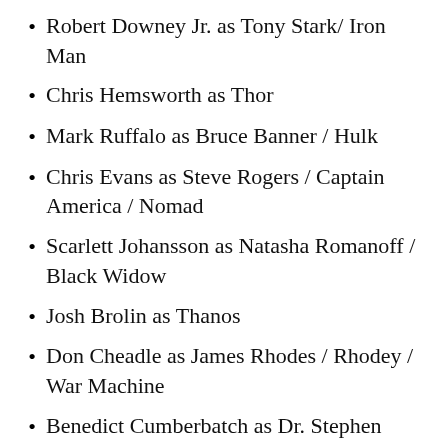Robert Downey Jr. as Tony Stark/ Iron Man
Chris Hemsworth as Thor
Mark Ruffalo as Bruce Banner / Hulk
Chris Evans as Steve Rogers / Captain America / Nomad
Scarlett Johansson as Natasha Romanoff / Black Widow
Josh Brolin as Thanos
Don Cheadle as James Rhodes / Rhodey / War Machine
Benedict Cumberbatch as Dr. Stephen Strange / Doctor Strange
Tom Holland as Peter Parker / Spider-Man
Chadwick Boseman as T'Challa / Black Panther
Chris Pratt as Peter Quill / Star-Lord
…